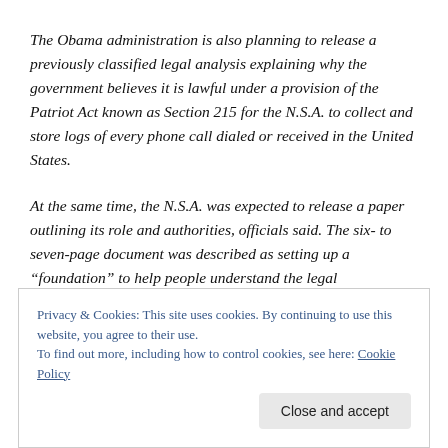The Obama administration is also planning to release a previously classified legal analysis explaining why the government believes it is lawful under a provision of the Patriot Act known as Section 215 for the N.S.A. to collect and store logs of every phone call dialed or received in the United States.
At the same time, the N.S.A. was expected to release a paper outlining its role and authorities, officials said. The six- to seven-page document was described as setting up a “foundation” to help people understand the legal
Privacy & Cookies: This site uses cookies. By continuing to use this website, you agree to their use.
To find out more, including how to control cookies, see here: Cookie Policy